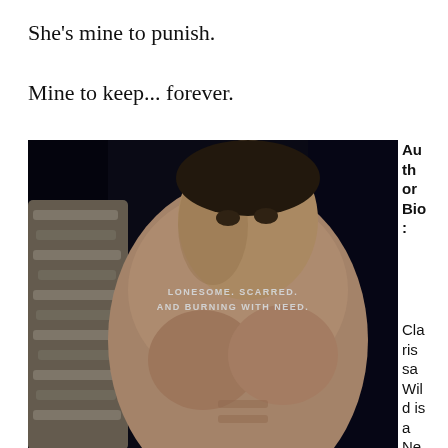She's mine to punish.
Mine to keep... forever.
[Figure (photo): Shirtless muscular man holding a thick rope over his shoulder against a dark background, with text overlay reading 'LONESOME. SCARRED. AND BURNING WITH NEED.']
Author Bio:
Clarissa Wild is a Ne